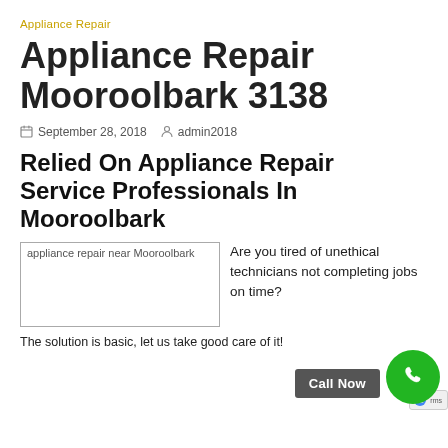Appliance Repair
Appliance Repair Mooroolbark 3138
September 28, 2018  admin2018
Relied On Appliance Repair Service Professionals In Mooroolbark
[Figure (photo): appliance repair near Mooroolbark]
Are you tired of unethical technicians not completing jobs on time?
The solution is basic, let us take good care of it!